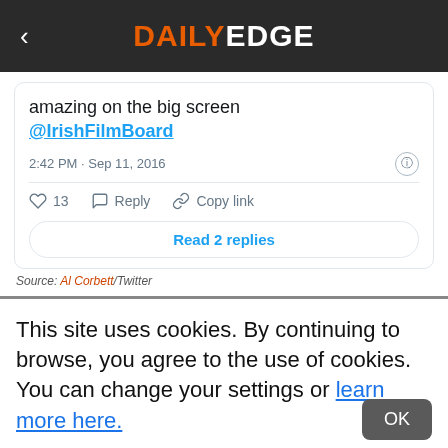DAILY EDGE
amazing on the big screen @IrishFilmBoard
2:42 PM · Sep 11, 2016
♡ 13   Reply   Copy link
Read 2 replies
Source: Al Corbett/Twitter
This site uses cookies. By continuing to browse, you agree to the use of cookies. You can change your settings or learn more here.